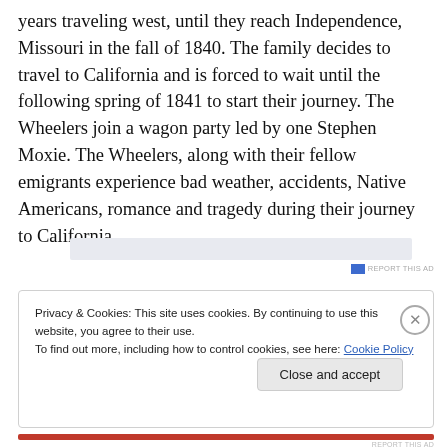years traveling west, until they reach Independence, Missouri in the fall of 1840. The family decides to travel to California and is forced to wait until the following spring of 1841 to start their journey. The Wheelers join a wagon party led by one Stephen Moxie. The Wheelers, along with their fellow emigrants experience bad weather, accidents, Native Americans, romance and tragedy during their journey to California.
[Figure (other): Advertisement banner placeholder (light blue/gray bar)]
Privacy & Cookies: This site uses cookies. By continuing to use this website, you agree to their use.
To find out more, including how to control cookies, see here: Cookie Policy
Close and accept